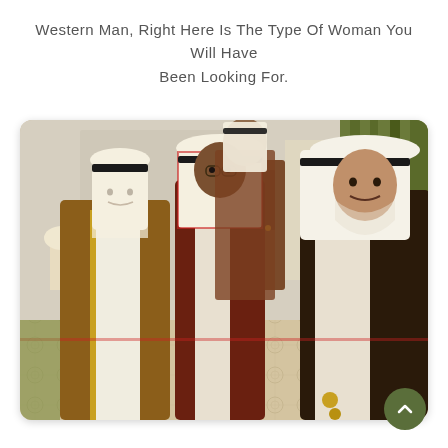Western Man, Right Here Is The Type Of Woman You Will Have Been Looking For.
[Figure (photo): Three men in traditional Saudi Arabic dress (thobes and keffiyehs) standing and conversing in an ornate formal reception room with green curtains, patterned carpet, and gold furniture.]